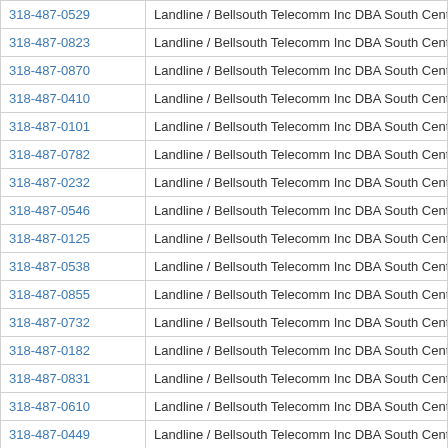| Phone | Carrier |
| --- | --- |
| 318-487-0529 | Landline / Bellsouth Telecomm Inc DBA South Central Bell Tel |
| 318-487-0823 | Landline / Bellsouth Telecomm Inc DBA South Central Bell Tel |
| 318-487-0870 | Landline / Bellsouth Telecomm Inc DBA South Central Bell Tel |
| 318-487-0410 | Landline / Bellsouth Telecomm Inc DBA South Central Bell Tel |
| 318-487-0101 | Landline / Bellsouth Telecomm Inc DBA South Central Bell Tel |
| 318-487-0782 | Landline / Bellsouth Telecomm Inc DBA South Central Bell Tel |
| 318-487-0232 | Landline / Bellsouth Telecomm Inc DBA South Central Bell Tel |
| 318-487-0546 | Landline / Bellsouth Telecomm Inc DBA South Central Bell Tel |
| 318-487-0125 | Landline / Bellsouth Telecomm Inc DBA South Central Bell Tel |
| 318-487-0538 | Landline / Bellsouth Telecomm Inc DBA South Central Bell Tel |
| 318-487-0855 | Landline / Bellsouth Telecomm Inc DBA South Central Bell Tel |
| 318-487-0732 | Landline / Bellsouth Telecomm Inc DBA South Central Bell Tel |
| 318-487-0182 | Landline / Bellsouth Telecomm Inc DBA South Central Bell Tel |
| 318-487-0831 | Landline / Bellsouth Telecomm Inc DBA South Central Bell Tel |
| 318-487-0610 | Landline / Bellsouth Telecomm Inc DBA South Centra… |
| 318-487-0449 | Landline / Bellsouth Telecomm Inc DBA South Central Be… Tel |
| 318-487-0352 | Landline / Bellsouth Telecomm Inc DBA South Central Bell Tel |
| 318-487-0029 | Landline / Bellsouth Telecomm Inc DBA South Central Bell Tel |